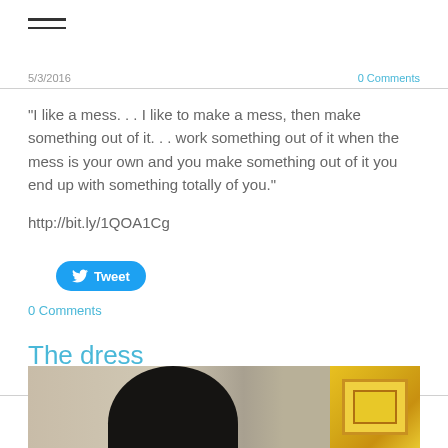[Figure (other): Hamburger menu icon with three horizontal lines]
5/3/2016
0 Comments
"I like a mess. . . I like to make a mess, then make something out of it. . . work something out of it when the mess is your own and you make something out of it you end up with something totally of you."
http://bit.ly/1QOA1Cg
[Figure (other): Tweet button with Twitter bird icon]
0 Comments
The dress
3/3/2016
0 Comments
[Figure (photo): Partially visible photo showing a dark-haired figure and colorful background with yellow/orange elements]